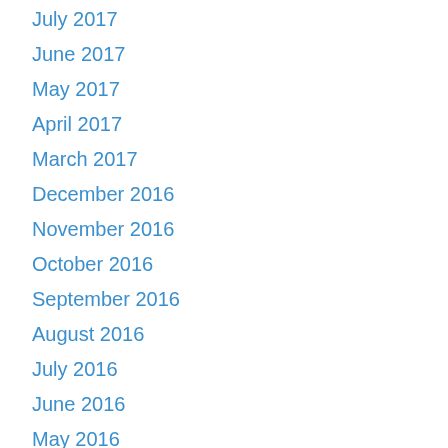July 2017
June 2017
May 2017
April 2017
March 2017
December 2016
November 2016
October 2016
September 2016
August 2016
July 2016
June 2016
May 2016
April 2016
February 2016